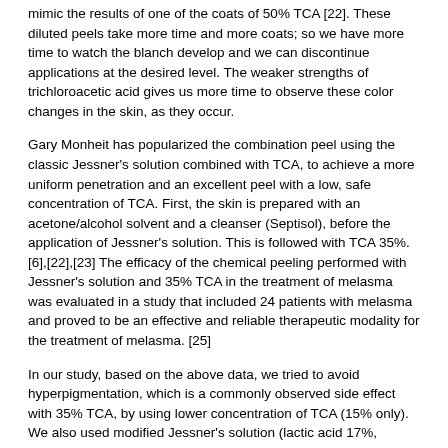mimic the results of one of the coats of 50% TCA [22]. These diluted peels take more time and more coats; so we have more time to watch the blanch develop and we can discontinue applications at the desired level. The weaker strengths of trichloroacetic acid gives us more time to observe these color changes in the skin, as they occur.
Gary Monheit has popularized the combination peel using the classic Jessner's solution combined with TCA, to achieve a more uniform penetration and an excellent peel with a low, safe concentration of TCA. First, the skin is prepared with an acetone/alcohol solvent and a cleanser (Septisol), before the application of Jessner's solution. This is followed with TCA 35%. [6],[22],[23] The efficacy of the chemical peeling performed with Jessner's solution and 35% TCA in the treatment of melasma was evaluated in a study that included 24 patients with melasma and proved to be an effective and reliable therapeutic modality for the treatment of melasma. [25]
In our study, based on the above data, we tried to avoid hyperpigmentation, which is a commonly observed side effect with 35% TCA, by using lower concentration of TCA (15% only). We also used modified Jessner's solution (lactic acid 17%, salicylic acid 17%, and citric acid 8% in ethanol 95%) without resorcinol, instead of the classic Jessner's solution, to avoid possible allergic reactions and hyperpigmentation problems, which may be created by resorcinol, especially in skin types V and VI. [25]
Adapalene gel and TCA (15%) were applied on both sides of the face.